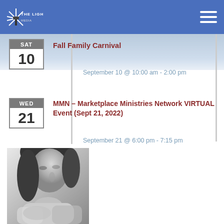The Light (logo) | navigation menu
Fall Family Carnival
September 10 @ 10:00 am - 2:00 pm
MMN – Marketplace Ministries Network VIRTUAL Event (Sept 21, 2022)
September 21 @ 6:00 pm - 7:15 pm
View More…
[Figure (photo): Black and white portrait photo of a woman looking downward, dark hair, wearing light-colored top]